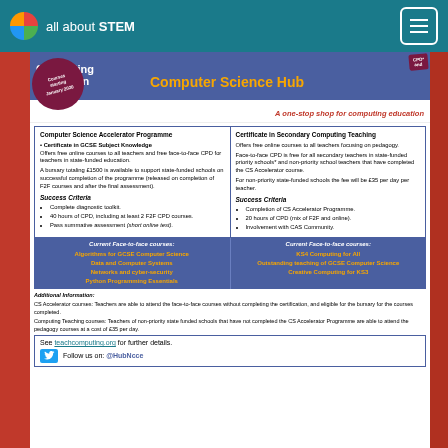all about STEM
Computing Education – Computer Science Hub
A one-stop shop for computing education
Computer Science Accelerator Programme
• Certificate in GCSE Subject Knowledge
Offers free online courses to all teachers and free face-to-face CPD for teachers in state-funded education.
A bursary totaling £1500 is available to support state-funded schools on successful completion of the programme (released on completion of F2F courses and after the final assessment).
Success Criteria
Complete diagnostic toolkit.
40 hours of CPD, including at least 2 F2F CPD courses.
Pass summative assessment (short online test).
Certificate in Secondary Computing Teaching
Offers free online courses to all teachers focusing on pedagogy.
Face-to-face CPD is free for all secondary teachers in state-funded priority schools* and non-priority school teachers that have completed the CS Accelerator course.
For non-priority state-funded schools the fee will be £35 per day per teacher.
Success Criteria
Completion of CS Accelerator Programme.
20 hours of CPD (mix of F2F and online).
Involvement with CAS Community.
Current Face-to-face courses:
Algorithms for GCSE Computer Science
Data and Computer Systems
Networks and cyber-security
Python Programming Essentials
Current Face-to-face courses:
KS4 Computing for All
Outstanding teaching of GCSE Computer Science
Creative Computing for KS3
Additional Information:
CS Accelerator courses: Teachers are able to attend the face-to-face courses without completing the certification, and eligible for the bursary for the courses completed.
Computing Teaching courses: Teachers of non-priority state funded schools that have not completed the CS Accelerator Programme are able to attend the pedagogy courses at a cost of £35 per day.
See teachcomputing.org for further details.
Follow us on: @HubNcce